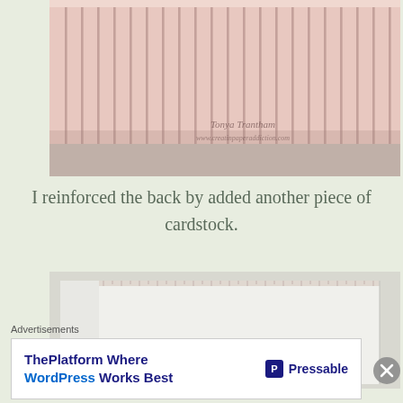[Figure (photo): Pink pleated/accordion folded cardstock viewed from the side, showing many evenly spaced folds. Watermark reads 'Tonya Trantham' and 'www.creatinpaperaddiction.com']
I reinforced the back by added another piece of cardstock.
[Figure (photo): White cardstock sheet viewed from above, showing a flat piece with light ruled lines at the top edge. Watermark reads 'Tonya Trantham'.]
Advertisements
[Figure (other): Advertisement banner: 'ThePlatform Where WordPress Works Best' with Pressable logo on the right. Blue and white coloring.]